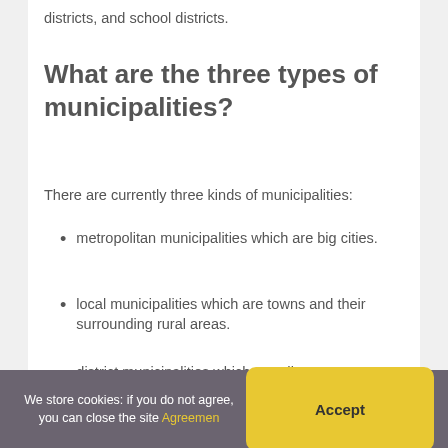districts, and school districts.
What are the three types of municipalities?
There are currently three kinds of municipalities:
metropolitan municipalities which are big cities.
local municipalities which are towns and their surrounding rural areas.
district municipalities which coordinate a number of local municipalities in a region.
We store cookies: if you do not agree, you can close the site Agreement